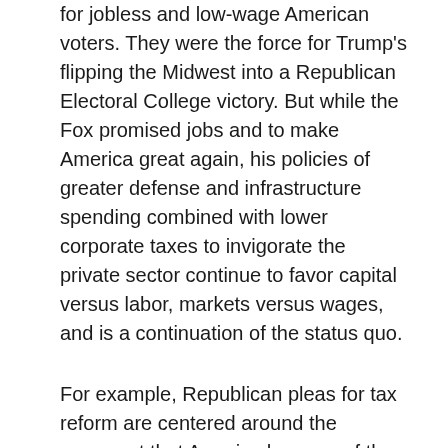for jobless and low-wage American voters. They were the force for Trump's flipping the Midwest into a Republican Electoral College victory. But while the Fox promised jobs and to make America great again, his policies of greater defense and infrastructure spending combined with lower corporate taxes to invigorate the private sector continue to favor capital versus labor, markets versus wages, and is a continuation of the status quo.
For example, Republican pleas for tax reform are centered around the argument that America has one of the highest corporate tax rates in the world at 35%. Not so. Of the S&P 500's largest 50 corporations, the average tax rate (including state, local and foreign regulations) is 24%. U.S. corporations rank among the world's most lightly, as opposed to heavily, taxed. Trump policies also